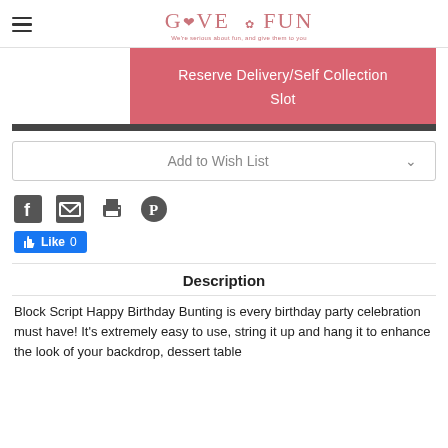GIVE FUN — We're serious about fun, and give them to you
Reserve Delivery/Self Collection Slot
Add to Wish List
[Figure (infographic): Social share icons: Facebook, Email, Print, Pinterest; and a Facebook Like button showing 0 likes]
Description
Block Script Happy Birthday Bunting is every birthday party celebration must have! It's extremely easy to use, string it up and hang it to enhance the look of your backdrop, dessert table